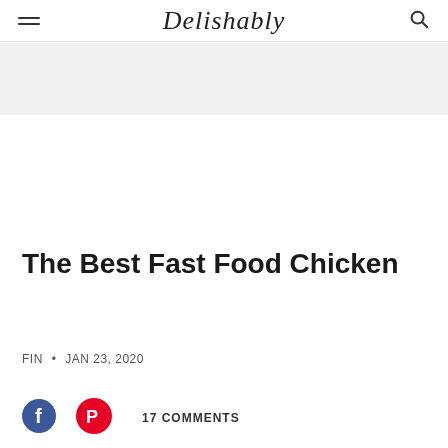Delishably
[Figure (other): Gray advertisement banner area]
The Best Fast Food Chicken
FIN • JAN 23, 2020
17 COMMENTS